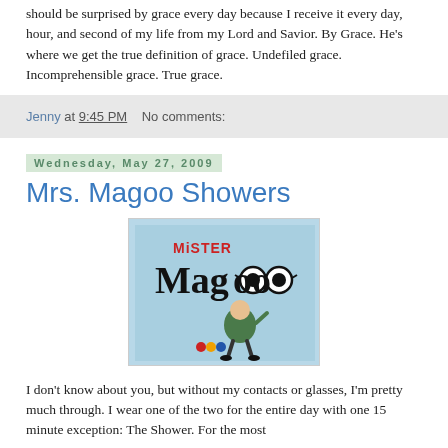should be surprised by grace every day because I receive it every day, hour, and second of my life from my Lord and Savior. By Grace. He's where we get the true definition of grace. Undefiled grace. Incomprehensible grace. True grace.
Jenny at 9:45 PM   No comments:
Wednesday, May 27, 2009
Mrs. Magoo Showers
[Figure (illustration): Mister Magoo cartoon logo with the character — a short elderly man with thick glasses, wearing a green coat, with the text 'MiSTER Magoo' in stylized lettering on a light blue background]
I don't know about you, but without my contacts or glasses, I'm pretty much through. I wear one of the two for the entire day with one 15 minute exception: The Shower. For the most